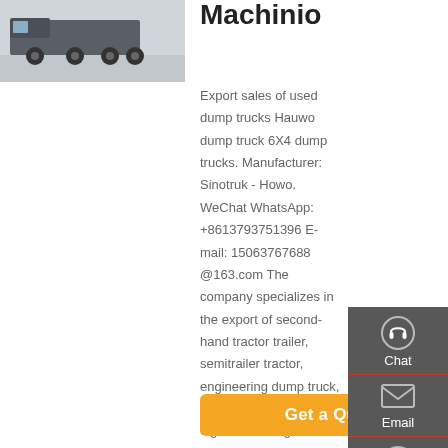[Figure (photo): Truck/dump truck vehicle photo]
Machinio
Export sales of used dump trucks Hauwo dump truck 6X4 dump trucks. Manufacturer: Sinotruk - Howo. WeChat WhatsApp: +8613793751396 E-mail: 15063767688@163.com The company specializes in the export of second-hand tractor trailer, semitrailer tractor, engineering dump truck, truck cement mixer, after eight Shandong, China.
Chat
Email
Contact
Top
Get a Quote